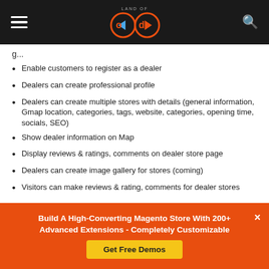LAND OF OD (logo with hamburger menu and search icon)
Enable customers to register as a dealer
Dealers can create professional profile
Dealers can create multiple stores with details (general information, Gmap location, categories, tags, website, categories, opening time, socials, SEO)
Show dealer information on Map
Display reviews & ratings, comments on dealer store page
Dealers can create image gallery for stores (coming)
Visitors can make reviews & rating, comments for dealer stores
Build A High-Converting Magento Store With 200+ Advanced Extensions - Completely Customizable
Get Free Demos